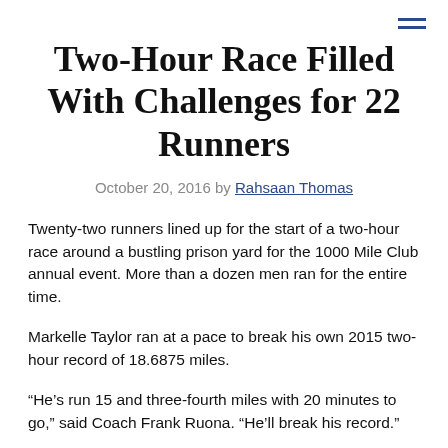Two-Hour Race Filled With Challenges for 22 Runners
October 20, 2016 by Rahsaan Thomas
Twenty-two runners lined up for the start of a two-hour race around a bustling prison yard for the 1000 Mile Club annual event. More than a dozen men ran for the entire time.
Markelle Taylor ran at a pace to break his own 2015 two-hour record of 18.6875 miles.
“He’s run 15 and three-fourth miles with 20 minutes to go,” said Coach Frank Ruona. “He’ll break his record.”
With less than 10 minutes left in the race, an